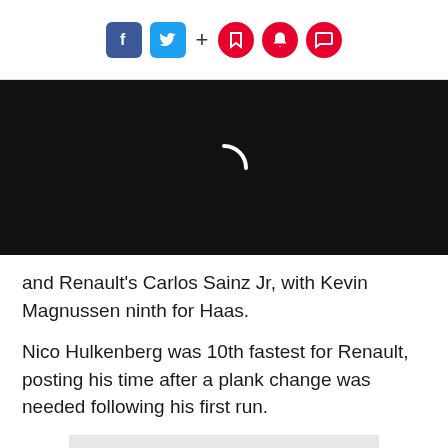Social media toolbar with Facebook, Twitter, plus, bookmark, notification, and comment icons
[Figure (screenshot): Dark black video player loading spinner on black background]
and Renault's Carlos Sainz Jr, with Kevin Magnussen ninth for Haas.
Nico Hulkenberg was 10th fastest for Renault, posting his time after a plank change was needed following his first run.
[Figure (other): Light grey advertisement placeholder rectangle]